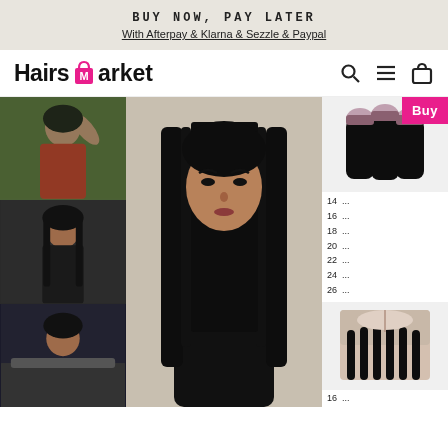BUY NOW, PAY LATER
With Afterpay & Klarna & Sezzle & Paypal
[Figure (logo): HairsMarket logo with shopping bag icon and pink M]
[Figure (photo): Collage of three hair style photos on left]
[Figure (photo): Large center photo of woman with long straight black hair]
[Figure (photo): Hair bundles product image]
Buy
14 ...
16 ...
18 ...
20 ...
22 ...
24 ...
26 ...
[Figure (photo): Hair closure product image]
16 ...
18 ...
20 ...
22 ...
24 ...
26 ...
14 ...